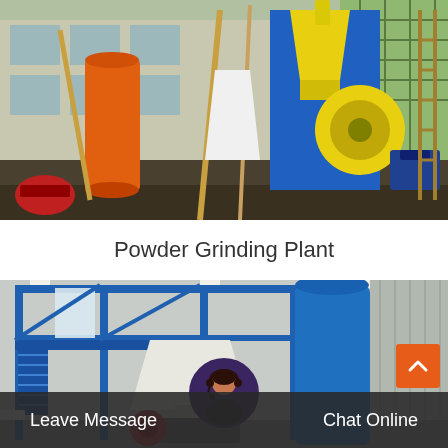[Figure (photo): Outdoor industrial powder grinding plant setup with orange cylindrical bin, yellow cyclone separator and blue housing, wooden support frames, construction site background]
Powder Grinding Plant
[Figure (photo): Indoor industrial facility with blue steel structure framework, conical white hopper, large blue cylindrical tank, mezzanine platform with stairs, industrial grinding machinery]
Leave Message   Chat Online